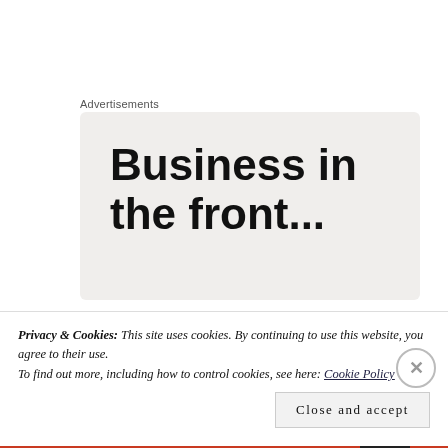Advertisements
[Figure (other): Advertisement banner with large bold text reading 'Business in the front...' on a light beige/gray background]
[Figure (photo): Circular avatar photo of a person, pencil sketch style]
phylor
Privacy & Cookies: This site uses cookies. By continuing to use this website, you agree to their use.
To find out more, including how to control cookies, see here: Cookie Policy
Close and accept